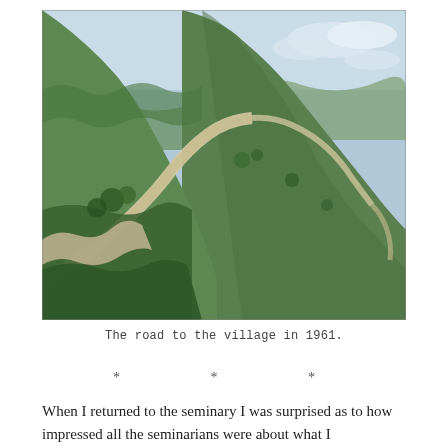[Figure (photo): Aerial photograph of a winding road through green mountainous terrain, taken in 1961. The road curves through forested hills and valleys under a partly cloudy sky.]
The road to the village in 1961.
* * *
When I returned to the seminary I was surprised as to how impressed all the seminarians were about what I